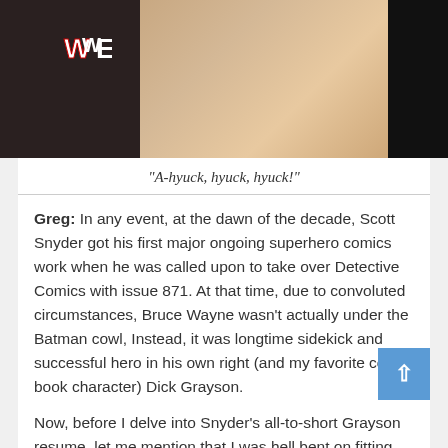[Figure (photo): A dark photo of a person in a suit with a WWE logo visible in the lower left area. The person's neck/chin area is visible. Dark background.]
“A-hyuck, hyuck, hyuck!”
Greg: In any event, at the dawn of the decade, Scott Snyder got his first major ongoing superhero comics work when he was called upon to take over Detective Comics with issue 871. At that time, due to convoluted circumstances, Bruce Wayne wasn’t actually under the Batman cowl, Instead, it was longtime sidekick and successful hero in his own right (and my favorite comic book character) Dick Grayson.
Now, before I delve into Snyder’s all-to-short Grayson resume, let me mention that I was hell bent on fitting Nightwing somewhere into this countdown. Unfortunately, there haven’t been a lot of what I’d consider great